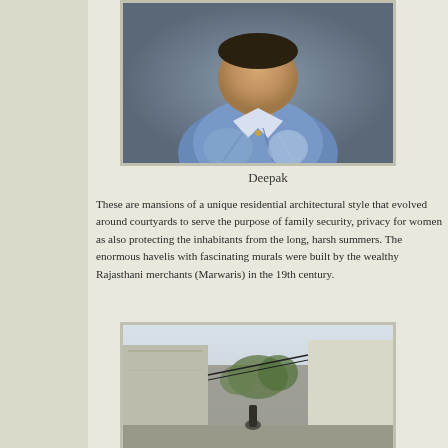[Figure (photo): Portrait photo of a man named Deepak wearing a blue shirt, photographed from the chest up]
Deepak
These are mansions of a unique residential architectural style that evolved around courtyards to serve the purpose of family security, privacy for women as also protecting the inhabitants from the long, harsh summers. The enormous havelis with fascinating murals were built by the wealthy Rajasthani merchants (Marwaris) in the 19th century.
[Figure (photo): Photograph of a narrow alley or lane between tall white-washed walls, with trees visible in the background]